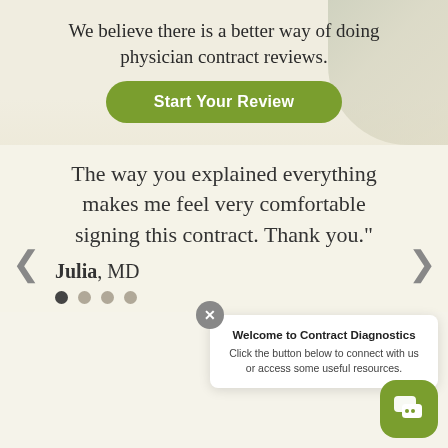We believe there is a better way of doing physician contract reviews.
Start Your Review
The way you explained everything makes me feel very comfortable signing this contract. Thank you."
Julia, MD
Welcome to Contract Diagnostics
Click the button below to connect with us or access some useful resources.